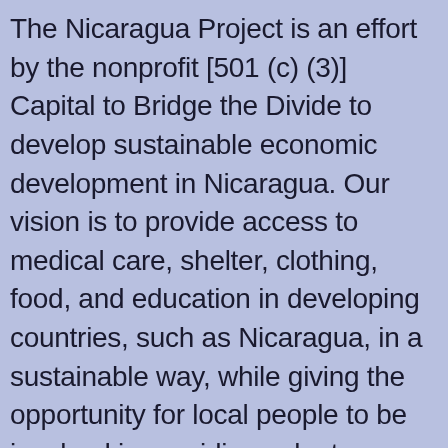The Nicaragua Project is an effort by the nonprofit [501 (c) (3)] Capital to Bridge the Divide to develop sustainable economic development in Nicaragua. Our vision is to provide access to medical care, shelter, clothing, food, and education in developing countries, such as Nicaragua, in a sustainable way, while giving the opportunity for local people to be involved in providing voluntary assistance to those communities. At the same time, we will be educating the local community in the United States about issues involving impoverishment and global capital distribution, the plight of people in developing communities, and about the alleviation of poverty in those communities.